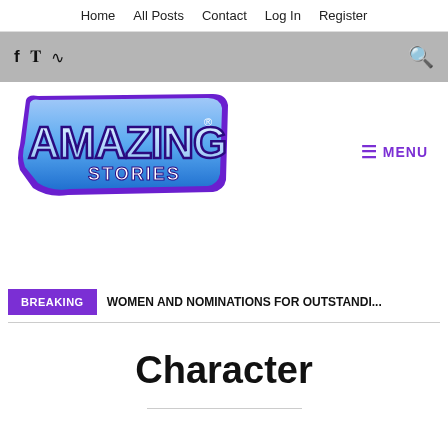Home  All Posts  Contact  Log In  Register
[Figure (logo): Amazing Stories logo with blue stylized text and purple outline, with registered trademark symbol]
≡ MENU
BREAKING  WOMEN AND NOMINATIONS FOR OUTSTANDI...
Character